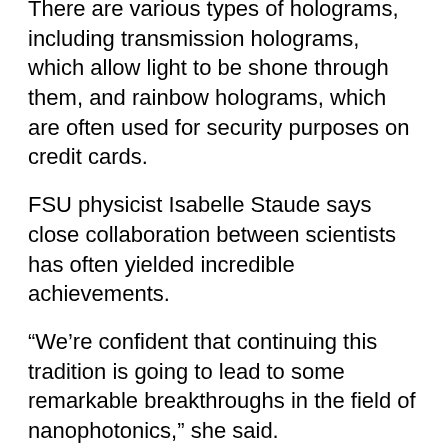There are various types of holograms, including transmission holograms, which allow light to be shone through them, and rainbow holograms, which are often used for security purposes on credit cards.
FSU physicist Isabelle Staude says close collaboration between scientists has often yielded incredible achievements.
“We’re confident that continuing this tradition is going to lead to some remarkable breakthroughs in the field of nanophotonics,” she said.
The program is scheduled to start early next year if international borders reopen, and run until 2026, with German students also visiting ANU.
The joint international research training group is funded by the German Research Foundation, with additional support from ANU.
Doctoral candidates will receive financial support